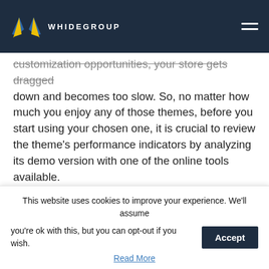WHIDEGROUP
customization opportunities, your store gets dragged down and becomes too slow. So, no matter how much you enjoy any of those themes, before you start using your chosen one, it is crucial to review the theme's performance indicators by analyzing its demo version with one of the online tools available.
Caching
The Saas infrastructure of Shopify does not support leverage browser caching. Instead, Shopify provides online stores with extremely fast servers, with the claim:
This website uses cookies to improve your experience. We'll assume you're ok with this, but you can opt-out if you wish.
Read More